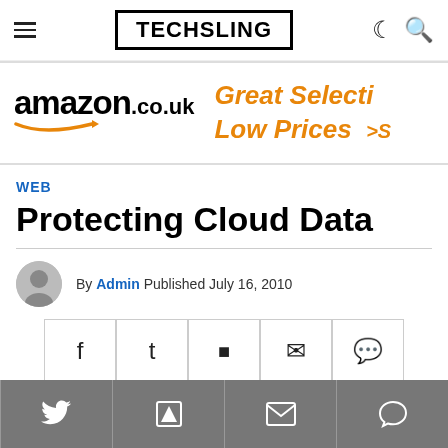TECHSLING
[Figure (screenshot): Amazon.co.uk advertisement banner with text 'Great Selection Low Prices']
WEB
Protecting Cloud Data
By Admin Published July 16, 2010
[Figure (infographic): Social share buttons: Facebook, Twitter, Flipboard, Email, Comment]
[Figure (infographic): Bottom social share bar with Twitter, Flipboard, Email, Comment icons on grey background]